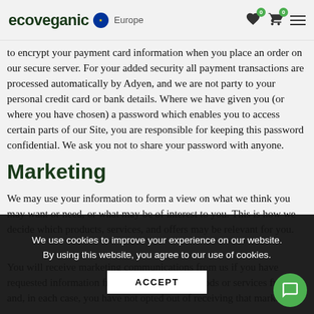ecoveganic Europe
to encrypt your payment card information when you place an order on our secure server. For your added security all payment transactions are processed automatically by Adyen, and we are not party to your personal credit card or bank details. Where we have given you (or where you have chosen) a password which enables you to access certain parts of our Site, you are responsible for keeping this password confidential. We ask you not to share your password with anyone.
Marketing
We may use your information to form a view on what we think you may want or need, or what may be of interest to you. This is how we decide which products, services, and offers may be relevant for you.
We use cookies to improve your experience on our website. By using this website, you agree to our use of cookies.